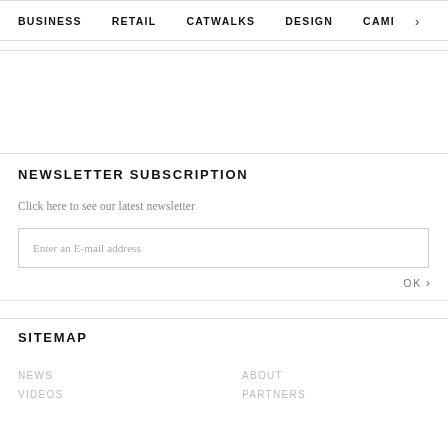BUSINESS   RETAIL   CATWALKS   DESIGN   CAMI >
NEWSLETTER SUBSCRIPTION
Click here to see our latest newsletter
Enter an E-mail address
OK >
SITEMAP
NEWS
ABOUT
VIDEOS
PARTNERS